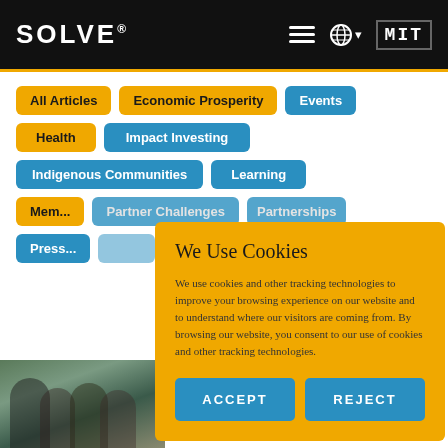[Figure (screenshot): MIT Solve website header with black background, SOLVE logo, hamburger menu, globe icon, and MIT logo]
All Articles
Economic Prosperity
Events
Health
Impact Investing
Indigenous Communities
Learning
Membership
Partner Challenges
Partnerships
Press
We Use Cookies
We use cookies and other tracking technologies to improve your browsing experience on our website and to understand where our visitors are coming from. By browsing our website, you consent to our use of cookies and other tracking technologies.
ACCEPT
REJECT